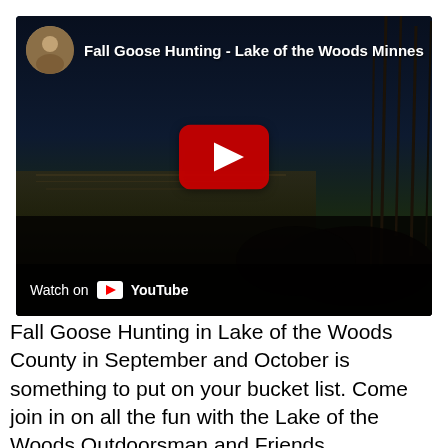[Figure (screenshot): YouTube video thumbnail for 'Fall Goose Hunting - Lake of the Woods Minnesota' showing hunters in a dark field at dusk/night with a YouTube play button overlay. Video channel icon (circular profile photo) shown top-left. 'Watch on YouTube' bar at bottom.]
Fall Goose Hunting in Lake of the Woods County in September and October is something to put on your bucket list. Come join in on all the fun with the Lake of the Woods Outdoorsman and Friends. www.lakeofthewoodsoutdoorsman.com